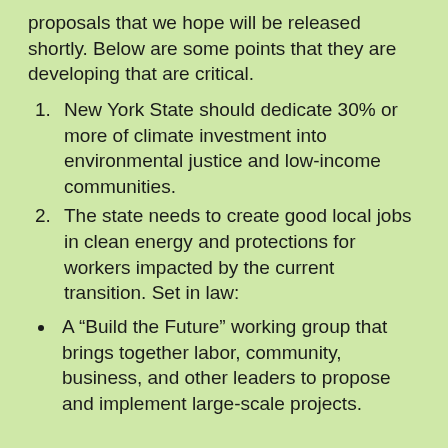proposals that we hope will be released shortly. Below are some points that they are developing that are critical.
New York State should dedicate 30% or more of climate investment into environmental justice and low-income communities.
The state needs to create good local jobs in clean energy and protections for workers impacted by the current transition. Set in law:
A “Build the Future” working group that brings together labor, community, business, and other leaders to propose and implement large-scale projects.